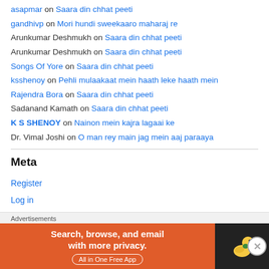asapmar on Saara din chhat peeti
gandhivp on Mori hundi sweekaaro maharaj re
Arunkumar Deshmukh on Saara din chhat peeti
Arunkumar Deshmukh on Saara din chhat peeti
Songs Of Yore on Saara din chhat peeti
ksshenoy on Pehli mulaakaat mein haath leke haath mein
Rajendra Bora on Saara din chhat peeti
Sadanand Kamath on Saara din chhat peeti
K S SHENOY on Nainon mein kajra lagaai ke
Dr. Vimal Joshi on O man rey main jag mein aaj paraaya
Meta
Register
Log in
Advertisements
[Figure (screenshot): DuckDuckGo advertisement banner: 'Search, browse, and email with more privacy. All in One Free App' on orange background with DuckDuckGo duck logo on dark background]